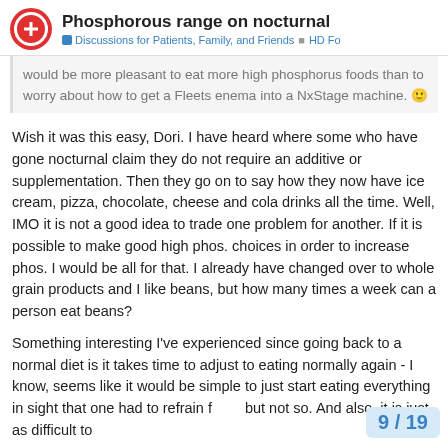Phosphorous range on nocturnal | Discussions for Patients, Family, and Friends | HD Fo
would be more pleasant to eat more high phosphorus foods than to worry about how to get a Fleets enema into a NxStage machine. 🙂
Wish it was this easy, Dori. I have heard where some who have gone nocturnal claim they do not require an additive or supplementation. Then they go on to say how they now have ice cream, pizza, chocolate, cheese and cola drinks all the time. Well, IMO it is not a good idea to trade one problem for another. If it is possible to make good high phos. choices in order to increase phos. I would be all for that. I already have changed over to whole grain products and I like beans, but how many times a week can a person eat beans?
Something interesting I've experienced since going back to a normal diet is it takes time to adjust to eating normally again - I know, seems like it would be simple to just start eating everything in sight that one had to refrain f but not so. And also, it is just as difficult to
9 / 19